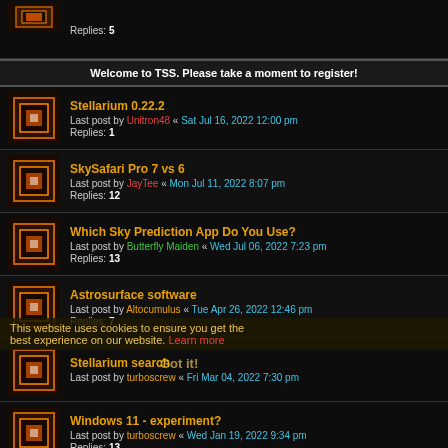Replies: 5
Welcome to TSS. Please take a moment to register!
Stellarium 0.22.2 — Last post by Unitron48 « Sat Jul 16, 2022 12:00 pm — Replies: 1
SkySafari Pro 7 vs 6 — Last post by JayTee « Mon Jul 11, 2022 8:07 pm — Replies: 12
Which Sky Prediction App Do You Use? — Last post by Butterfly Maiden « Wed Jul 06, 2022 7:23 pm — Replies: 13
Astrosurface software — Last post by Altocumulus « Tue Apr 26, 2022 12:46 pm — Replies: 7
Stellarium search — Last post by turboscrew « Fri Mar 04, 2022 7:30 pm
Windows 11 - experiment? — Last post by turboscrew « Wed Jan 19, 2022 9:34 pm — Replies: 13
Why would Stellarium show a different altitude than a mount — Last post by Lady Fraktor « Sat Jan 08, 2022 4:25 am — Replies: 13
Helpful Websites